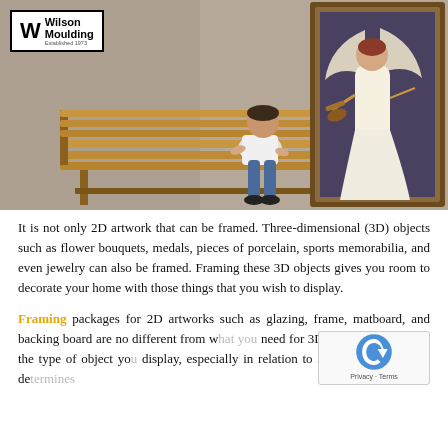[Figure (photo): A photo showing a young boy sitting on a wooden bench looking up at a large ornate framed painting of an angel playing violin. The Wilson Moulding logo appears in the top-left corner of the photo. The background is a neutral beige wall.]
It is not only 2D artwork that can be framed. Three-dimensional (3D) objects such as flower bouquets, medals, pieces of porcelain, sports memorabilia, and even jewelry can also be framed. Framing these 3D objects gives you room to decorate your home with those things that you wish to display.
Framing packages for 2D artworks such as glazing, frame, matboard, and backing board are no different from what you need for 3D artworks. However, the type of object you display, especially in relation to its weight and depth, determines what is needed for the 3D object.